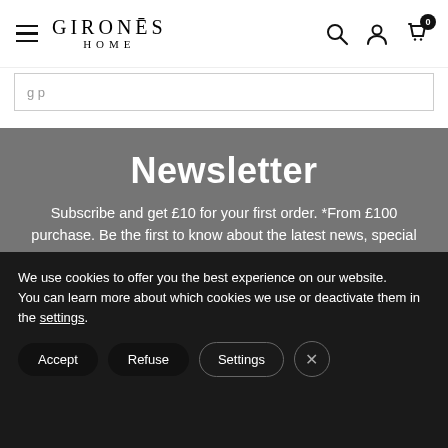GIRONES HOME
Newsletter
Subscribe and get £10 for your first order. *From £100 purchase. Be the first to know about the latest news, special promotions and much more.
Escribe tu email  |  Suscríbete
We use cookies to offer you the best experience on our website.
You can learn more about which cookies we use or deactivate them in the settings.
Accept  Refuse  Settings  ×